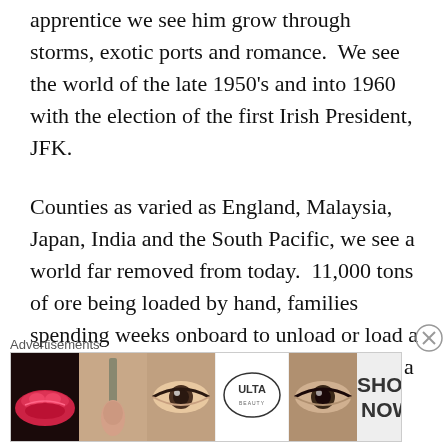apprentice we see him grow through storms, exotic ports and romance.  We see the world of the late 1950's and into 1960 with the election of the first Irish President, JFK.
Counties as varied as England, Malaysia, Japan, India and the South Pacific, we see a world far removed from today.  11,000 tons of ore being loaded by hand, families spending weeks onboard to unload or load a ship full of grain or iron ore one bucket at a time.
It's a wonderful snapshot of the world 50 years ago.  His detail of the US Deep South, the Irish
Advertisements
[Figure (photo): Advertisement banner for ULTA beauty products showing close-up images of lips, makeup brush, eye with makeup, ULTA logo, eye, and SHOP NOW text]